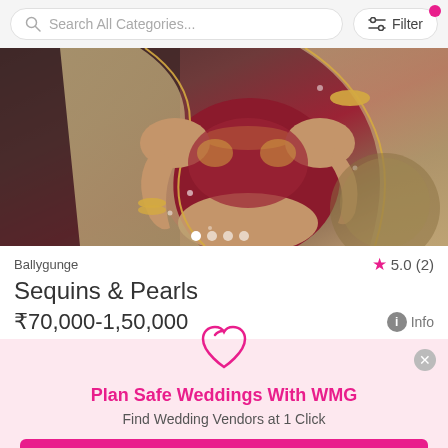[Figure (screenshot): Search bar with 'Search All Categories...' placeholder and Filter button with pink notification dot]
[Figure (photo): Photo of a bride in traditional Indian bridal wear - deep red/maroon blouse with gold embroidery and embellished dupatta/veil, wearing gold jewelry]
Ballygunge
★ 5.0 (2)
Sequins & Pearls
₹70,000-1,50,000
ℹ Info
Plan Safe Weddings With WMG
Find Wedding Vendors at 1 Click
Download the WMG App